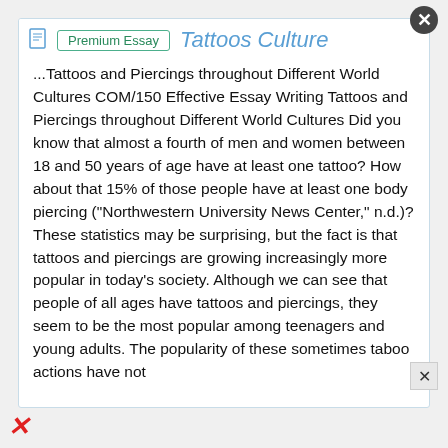Tattoos Culture
...Tattoos and Piercings throughout Different World Cultures COM/150 Effective Essay Writing Tattoos and Piercings throughout Different World Cultures Did you know that almost a fourth of men and women between 18 and 50 years of age have at least one tattoo? How about that 15% of those people have at least one body piercing ("Northwestern University News Center," n.d.)? These statistics may be surprising, but the fact is that tattoos and piercings are growing increasingly more popular in today's society. Although we can see that people of all ages have tattoos and piercings, they seem to be the most popular among teenagers and young adults. The popularity of these sometimes taboo actions have not